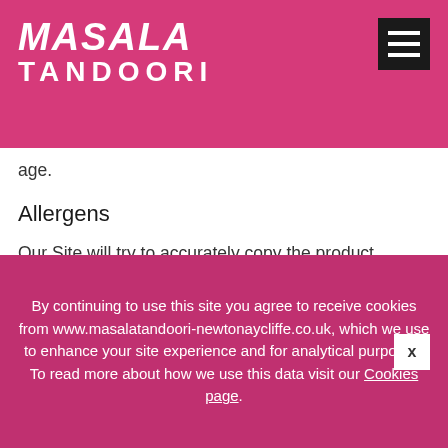MASALA TANDOORI
per… buy or attempt to buy alcohol … for a person over the … of 18 … ohol for the purpose of supplying it to someone under the age of 18 years of age.
Allergens
Our Site will try to accurately copy the product names, descriptions, and allergenic warnings and other information from the data provided to us by third party providers. It is, however, the duty and obligation of the third party provider to ensure that You are made aware of any allergens within prepared food or beverages. We do…
By continuing to use this site you agree to receive cookies from www.masalatandoori-newtonaycliffe.co.uk, which we use to enhance your site experience and for analytical purposes. To read more about how we use this data visit our Cookies page.